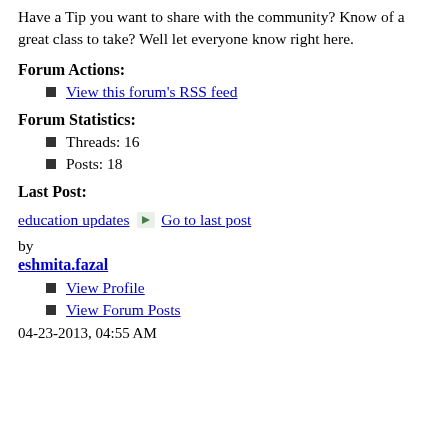Have a Tip you want to share with the community? Know of a great class to take? Well let everyone know right here.
Forum Actions:
View this forum's RSS feed
Forum Statistics:
Threads: 16
Posts: 18
Last Post:
education updates  Go to last post
by
eshmita.fazal
View Profile
View Forum Posts
04-23-2013, 04:55 AM